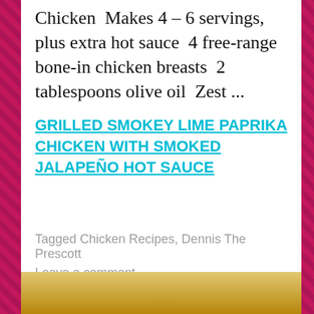Chicken  Makes 4 – 6 servings, plus extra hot sauce  4 free-range bone-in chicken breasts  2 tablespoons olive oil  Zest ...
GRILLED SMOKEY LIME PAPRIKA CHICKEN WITH SMOKED JALAPEÑO HOT SAUCE
Tagged Chicken Recipes, Dennis The Prescott
Leave a comment